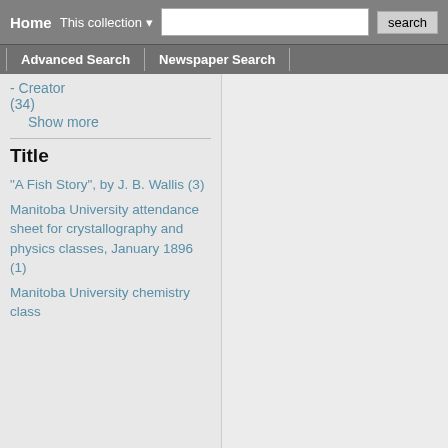Home  This collection  search
Advanced Search  |  Newspaper Search
- Creator (34)
Show more
Title
"A Fish Story", by J. B. Wallis (3)
Manitoba University attendance sheet for crystallography and physics classes, January 1896 (1)
Manitoba University chemistry class